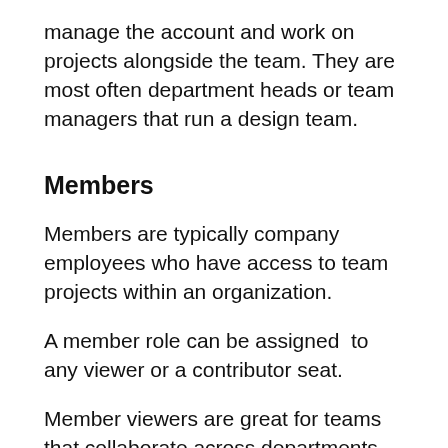manage the account and work on projects alongside the team. They are most often department heads or team managers that run a design team.
Members
Members are typically company employees who have access to team projects within an organization.
A member role can be assigned  to any viewer or a contributor seat.
Member viewers are great for teams that collaborate across departments. Typically,